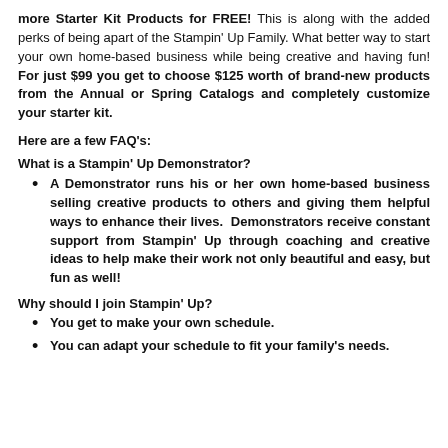more Starter Kit Products for FREE! This is along with the added perks of being apart of the Stampin' Up Family. What better way to start your own home-based business while being creative and having fun! For just $99 you get to choose $125 worth of brand-new products from the Annual or Spring Catalogs and completely customize your starter kit.
Here are a few FAQ's:
What is a Stampin' Up Demonstrator?
A Demonstrator runs his or her own home-based business selling creative products to others and giving them helpful ways to enhance their lives.  Demonstrators receive constant support from Stampin' Up through coaching and creative ideas to help make their work not only beautiful and easy, but fun as well!
Why should I join Stampin' Up?
You get to make your own schedule.
You can adapt your schedule to fit your family's needs.